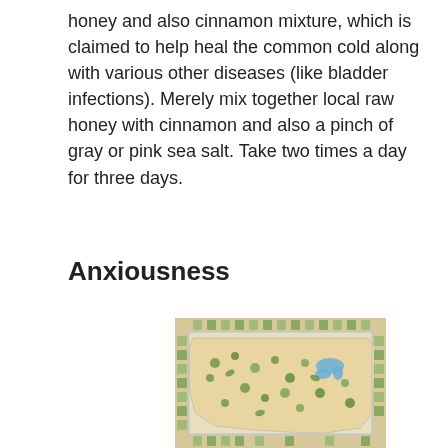honey and also cinnamon mixture, which is claimed to help heal the common cold along with various other diseases (like bladder infections). Merely mix together local raw honey with cinnamon and also a pinch of gray or pink sea salt. Take two times a day for three days.
Anxiousness
[Figure (map): A illustrated map of the United States showing various herbs and plants distributed across different regions, with decorative botanical illustrations bordering the map.]